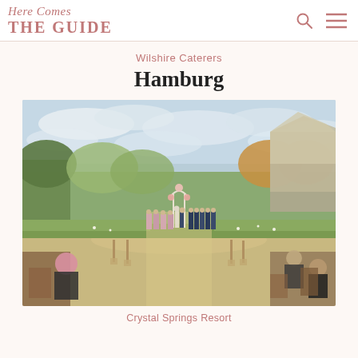Here Comes THE GUIDE
Wilshire Caterers
Hamburg
[Figure (photo): Outdoor wedding ceremony at Crystal Springs Resort. Bridal party in pink dresses on the left, groomsmen in navy suits on the right, couple at altar with floral arch in center. Guests seated in wooden chairs in foreground. Rocky cliff and autumn trees visible in background under a cloudy sky.]
Crystal Springs Resort